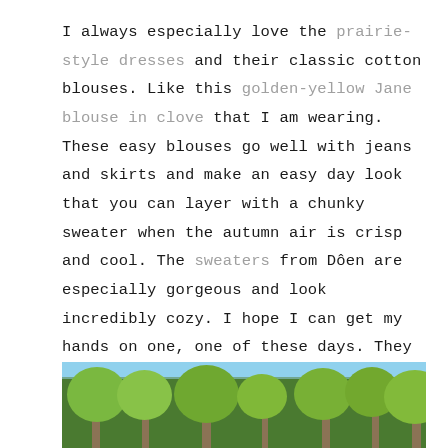I always especially love the prairie-style dresses and their classic cotton blouses. Like this golden-yellow Jane blouse in clove that I am wearing. These easy blouses go well with jeans and skirts and make an easy day look that you can layer with a chunky sweater when the autumn air is crisp and cool. The sweaters from Dôen are especially gorgeous and look incredibly cozy. I hope I can get my hands on one, one of these days. They are quite the investment piece but I know that it would be a quality investment that I would be able to wear with most of my fall and winter wardrobe. I will just have to save my money and hope one is still in stock.
[Figure (photo): A forest scene with tall trees and green foliage against a blue sky, photographed from below looking upward through the tree canopy.]